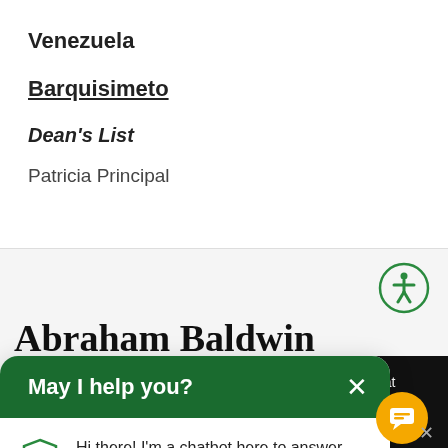Venezuela
Barquisimeto
Dean's List
Patricia Principal
[Figure (illustration): Accessibility icon - green circle with white person/figure symbol]
Abraham Baldwin
[Figure (screenshot): Green chatbot popup with header 'May I help you?' and message 'Hi there! I'm a chatbot here to answer your questions. What would you like to know?']
ur Privacy Notice at s, please email